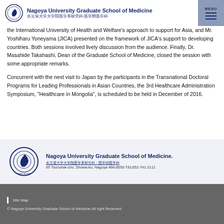Nagoya University Graduate School of Medicine 名古屋大学大学院医学系研究科·医学部医学科
the International University of Health and Welfare's approach to support for Asia, and Mr. Yoshiharu Yoneyama (JICA) presented on the framework of JICA's support to developing countries. Both sessions involved lively discussion from the audience. Finally, Dr. Masahide Takahashi, Dean of the Graduate School of Medicine, closed the session with some appropriate remarks.
Concurrent with the next visit to Japan by the participants in the Transnational Doctoral Programs for Leading Professionals in Asian Countries, the 3rd Healthcare Administration Symposium, "Healthcare in Mongolia", is scheduled to be held in December of 2016.
[Figure (logo): Nagoya University Graduate School of Medicine logo with circular seal and text: Nagoya University Graduate School of Medicine. 名古屋大学大学院医学系研究科・医学部医学科 65 Tsurumai-cho, Showa-ku, Nagoya 466-8550 TEL052-741-2111]
Site Map | © Nagoya University Graduate School of Medicine.All right Reserved.